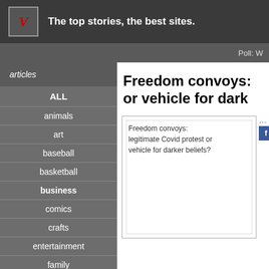The top stories, the best sites.
Poll: W
articles
ALL
animals
art
baseball
basketball
business
comics
crafts
entertainment
family
Freedom convoys: or vehicle for dark
[Figure (photo): Image placeholder with alt text: Freedom convoys: legitimate Covid protest or vehicle for darker beliefs?]